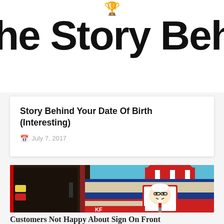[Figure (logo): Orange trophy/cup emoji icon at top center]
he Story Behin
Story Behind Your Date Of Birth (Interesting)
July 7, 2017
[Figure (photo): KFC restaurant exterior showing red and white striped roof, Colonel Sanders sign, blue trim, and a door on the left side]
Customers Not Happy About Sign On Front